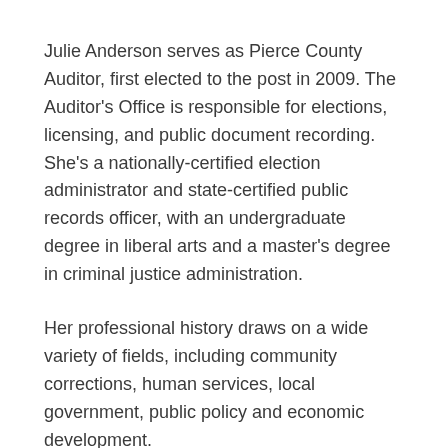Julie Anderson serves as Pierce County Auditor, first elected to the post in 2009. The Auditor's Office is responsible for elections, licensing, and public document recording. She's a nationally-certified election administrator and state-certified public records officer, with an undergraduate degree in liberal arts and a master's degree in criminal justice administration.
Her professional history draws on a wide variety of fields, including community corrections, human services, local government, public policy and economic development.
Prior to her election as Pierce County Auditor, Julie